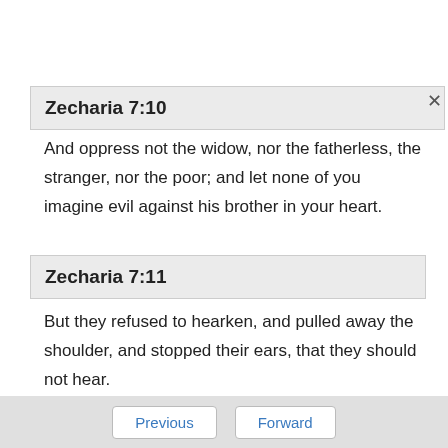Zecharia 7:10
And oppress not the widow, nor the fatherless, the stranger, nor the poor; and let none of you imagine evil against his brother in your heart.
Zecharia 7:11
But they refused to hearken, and pulled away the shoulder, and stopped their ears, that they should not hear.
Previous   Forward